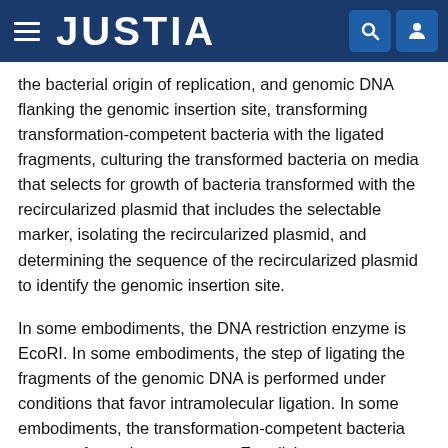JUSTIA
the bacterial origin of replication, and genomic DNA flanking the genomic insertion site, transforming transformation-competent bacteria with the ligated fragments, culturing the transformed bacteria on media that selects for growth of bacteria transformed with the recircularized plasmid that includes the selectable marker, isolating the recircularized plasmid, and determining the sequence of the recircularized plasmid to identify the genomic insertion site.
In some embodiments, the DNA restriction enzyme is EcoRI. In some embodiments, the step of ligating the fragments of the genomic DNA is performed under conditions that favor intramolecular ligation. In some embodiments, the transformation-competent bacteria are transformation-competent E. coli. In some embodiments, the genomic insertion site is a